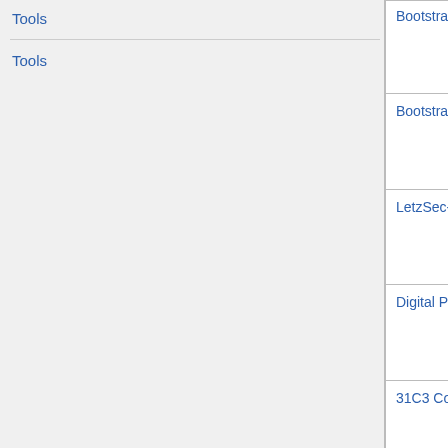Tools
Tools
| Name | Start | End |
| --- | --- | --- |
| Bootstrap 2015-02 | 24 February 2015 19:00:00 | 24 February 2015 23:3... |
| Bootstrap 2015-01 | 24 January 2015 19:00:00 | 24 January 2015 23:3... |
| LetzSec-2015-aa | 17 January 2015 20:00:00 | 17 January 2015 22:0... |
| Digital Privacy Salon | 10 January 2015 10:30:00 | 10 January 2015 22:0... |
| 31C3 Congress Everywhere | 27 December 2014 | 30 December 2014 |
| Bootstrap 2014-12 | 20 December 2014 19:00:00 | 20 December 2015 23:3... |